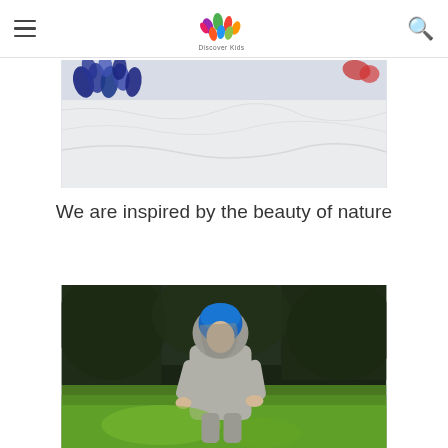Discover Kids
[Figure (photo): Craft art project showing blue pinecone or flower shapes on white plastic/paper background]
We are inspired by the beauty of nature
[Figure (photo): Young child wearing a blue hooded hat and grey sweatshirt outdoors in a garden, reaching down toward green grass, with dark trees in background]